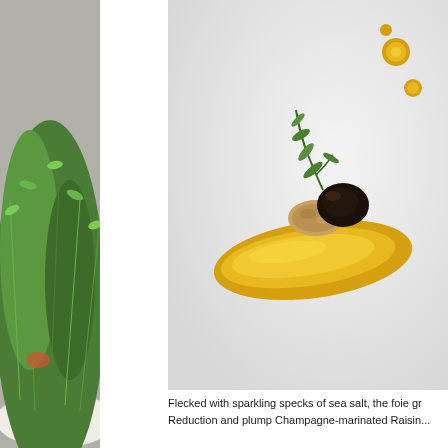[Figure (photo): Left side partial photo of green salad/microgreens in a white bowl against a grey background]
[Figure (photo): Fine dining dish on a white plate with a smear of golden/yellow sauce, a dark glazed element (possibly foie gras with truffle or raisin), topped with green herb leaves]
Flecked with sparkling specks of sea salt, the foie gr... Reduction and plump Champagne-marinated Raisin...